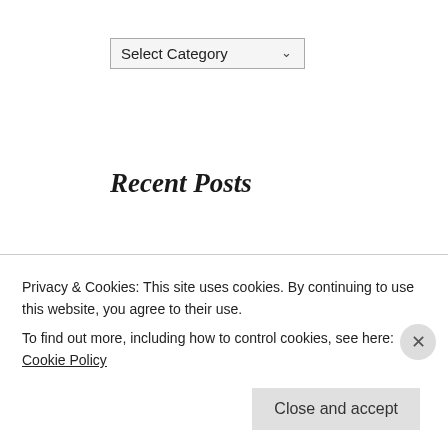[Figure (screenshot): Dropdown select box labeled 'Select Category' with a chevron arrow]
Recent Posts
An epileptic watching Laura
Human experience (2016)
Non-verbal communication (2017)
Saint Valentine
Losing my facial recognition skills
The ephemeral new
Privacy & Cookies: This site uses cookies. By continuing to use this website, you agree to their use.
To find out more, including how to control cookies, see here: Cookie Policy
Close and accept